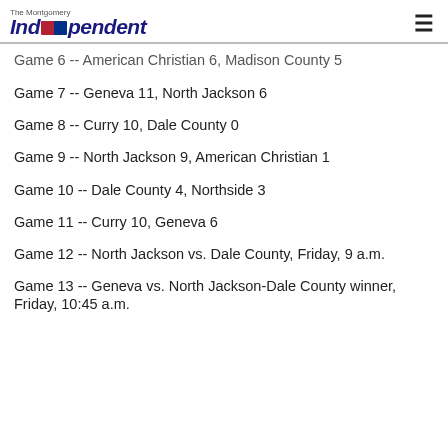The Montgomery Independent
Game 6 -- American Christian 6, Madison County 5
Game 7 -- Geneva 11, North Jackson 6
Game 8 -- Curry 10, Dale County 0
Game 9 -- North Jackson 9, American Christian 1
Game 10 -- Dale County 4, Northside 3
Game 11 -- Curry 10, Geneva 6
Game 12 -- North Jackson vs. Dale County, Friday, 9 a.m.
Game 13 -- Geneva vs. North Jackson-Dale County winner, Friday, 10:45 a.m.